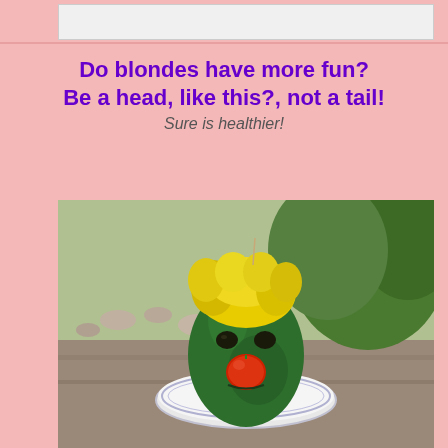Do blondes have more fun?
Be a head, like this?, not a tail!
Sure is healthier!
[Figure (photo): A green avocado decorated to look like a face with a yellow pepper as hair and a red cherry tomato as a nose, sitting on a white plate on a stone surface outdoors.]